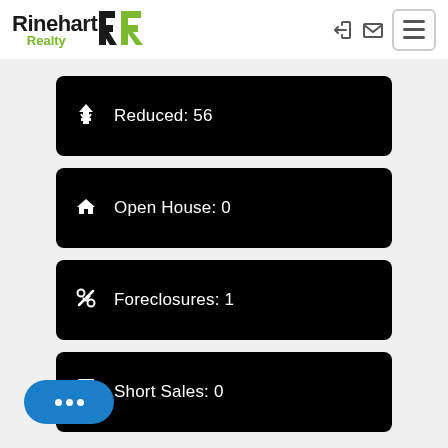[Figure (logo): Rinehart Realty logo with stylized RR emblem in black and green]
Reduced: 56
Open House: 0
Foreclosures: 1
Short Sales: 0